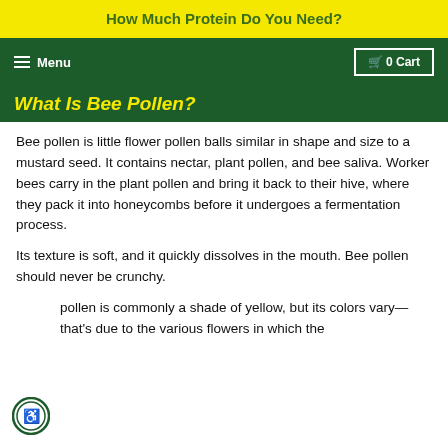How Much Protein Do You Need?
What Is Bee Pollen?
Bee pollen is little flower pollen balls similar in shape and size to a mustard seed. It contains nectar, plant pollen, and bee saliva. Worker bees carry in the plant pollen and bring it back to their hive, where they pack it into honeycombs before it undergoes a fermentation process.
Its texture is soft, and it quickly dissolves in the mouth. Bee pollen should never be crunchy.
pollen is commonly a shade of yellow, but its colors vary—that's due to the various flowers in which the